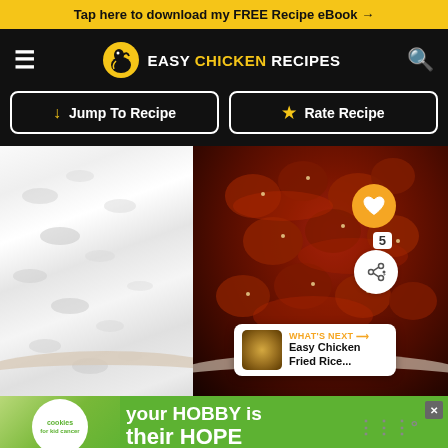Tap here to download my FREE Recipe eBook →
EASY CHICKEN RECIPES
Jump To Recipe
Rate Recipe
[Figure (photo): A bowl of glazed chicken pieces in reddish-brown sauce next to white rice, top-down view. Heart save button (5 saves) and share button visible. 'WHAT'S NEXT → Easy Chicken Fried Rice...' panel in bottom right.]
WHAT'S NEXT → Easy Chicken Fried Rice...
your HOBBY is their HOPE
cookies for kid cancer